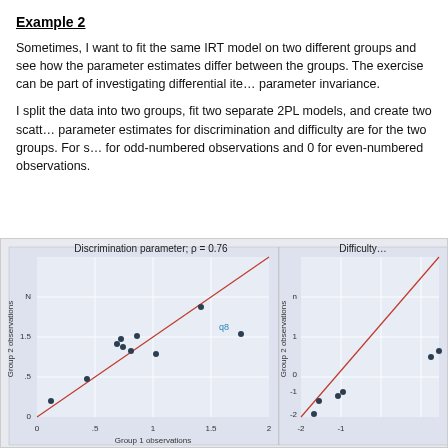Example 2
Sometimes, I want to fit the same IRT model on two different groups and see how the parameter estimates differ between the groups. The exercise can be part of investigating differential item functioning or parameter invariance.
I split the data into two groups, fit two separate 2PL models, and create two scatter plots showing what the parameter estimates for discrimination and difficulty are for the two groups. For simplicity, the groups are 1 for odd-numbered observations and 0 for even-numbered observations.
[Figure (continuous-plot): Two scatter plots side by side. Left plot: 'Discrimination parameter; ρ = 0.76' with Group 1 observations on x-axis (0 to 2) and Group 2 observations on y-axis (0 to 2), showing scattered points and a red diagonal reference line, with point q8 labeled. Right plot (partially visible): 'Difficulty' parameter scatter plot with Group 1 observations on x-axis (-2 to -1) and Group 2 observations on y-axis (-2 to ~0), showing a few points and a red diagonal reference line.]